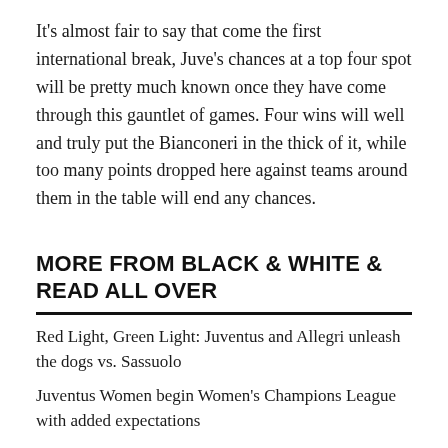It's almost fair to say that come the first international break, Juve's chances at a top four spot will be pretty much known once they have come through this gauntlet of games. Four wins will well and truly put the Bianconeri in the thick of it, while too many points dropped here against teams around them in the table will end any chances.
MORE FROM BLACK & WHITE & READ ALL OVER
Red Light, Green Light: Juventus and Allegri unleash the dogs vs. Sassuolo
Juventus Women begin Women's Champions League with added expectations
OFFICIALLY OFFICIAL: Juventus Women sell Lina Hurtig to Arsenal